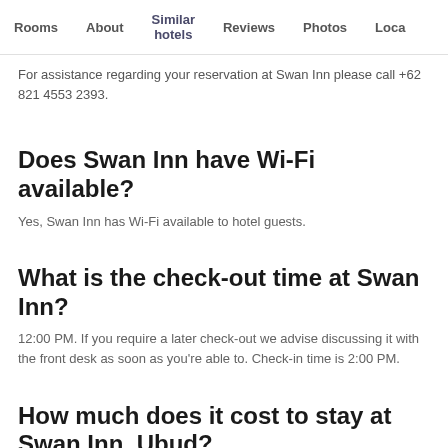Rooms | About | Similar hotels | Reviews | Photos | Loca…
For assistance regarding your reservation at Swan Inn please call +62 821 4553 2393.
Does Swan Inn have Wi-Fi available?
Yes, Swan Inn has Wi-Fi available to hotel guests.
What is the check-out time at Swan Inn?
12:00 PM. If you require a later check-out we advise discussing it with the front desk as soon as you're able to. Check-in time is 2:00 PM.
How much does it cost to stay at Swan Inn, Ubud?